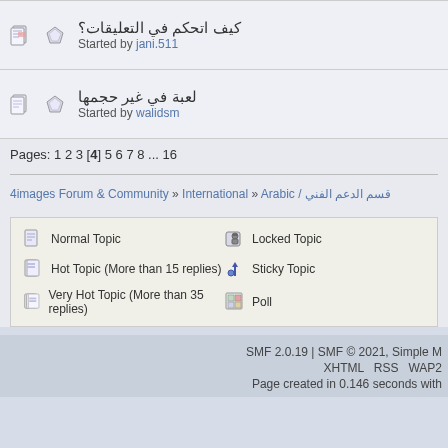كيف اتحكم في التعليقات؟ Started by jani.511
لعبة في غير حجمها Started by walidsm
Pages: 1 2 3 [4] 5 6 7 8 ... 16
4images Forum & Community » International » Arabic / قسم الدعم الفني
Normal Topic | Locked Topic | Hot Topic (More than 15 replies) | Sticky Topic | Very Hot Topic (More than 35 replies) | Poll
SMF 2.0.19 | SMF © 2021, Simple M
XHTML RSS WAP2
Page created in 0.146 seconds with